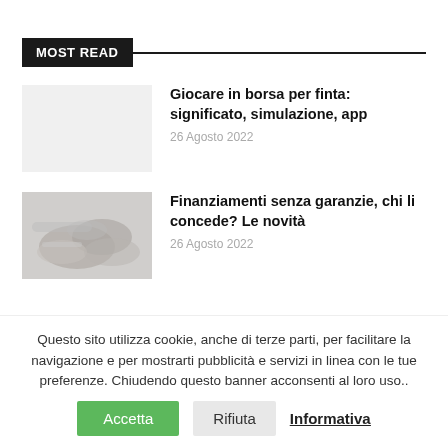MOST READ
Giocare in borsa per finta: significato, simulazione, app
26 Agosto 2022
[Figure (photo): Two people shaking hands over a desk with papers and money]
Finanziamenti senza garanzie, chi li concede? Le novità
26 Agosto 2022
Questo sito utilizza cookie, anche di terze parti, per facilitare la navigazione e per mostrarti pubblicità e servizi in linea con le tue preferenze. Chiudendo questo banner acconsenti al loro uso..
Accetta
Rifiuta
Informativa